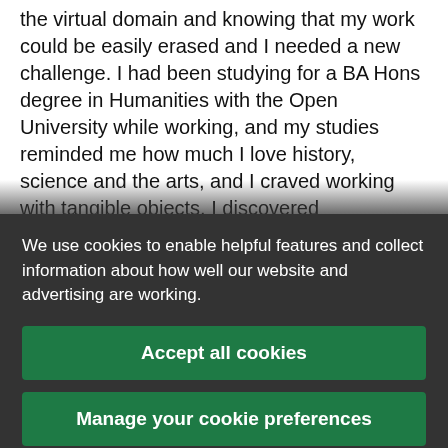the virtual domain and knowing that my work could be easily erased and I needed a new challenge. I had been studying for a BA Hons degree in Humanities with the Open University while working, and my studies reminded me how much I love history, science and the arts, and I craved working with tangible objects. I discovered conservation through a documentary about Chatsworth House in Derbyshire and seeing a Conservation Assistant methodically clean the back of time-old...
We use cookies to enable helpful features and collect information about how well our website and advertising are working.
Accept all cookies
Manage your cookie preferences